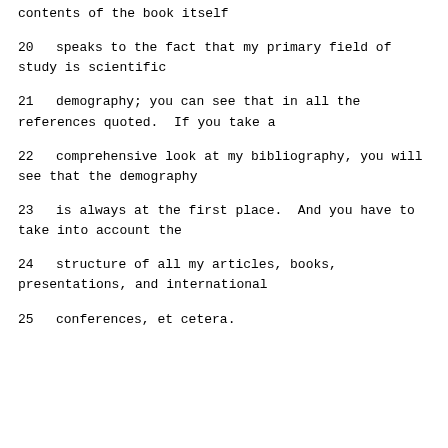contents of the book itself
20     speaks to the fact that my primary field of study is scientific
21     demography; you can see that in all the references quoted.  If you take a
22     comprehensive look at my bibliography, you will see that the demography
23     is always at the first place.  And you have to take into account the
24     structure of all my articles, books, presentations, and international
25     conferences, et cetera.